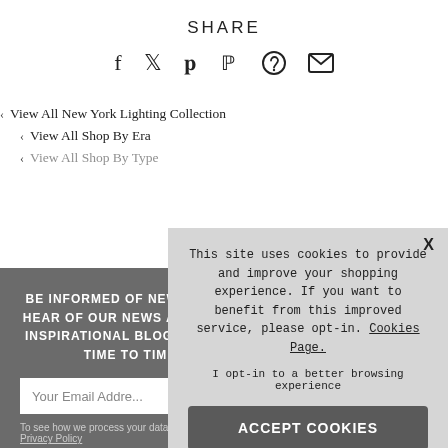SHARE
[Figure (infographic): Social share icons: Facebook (f), Twitter (bird), Pinterest (P), WhatsApp (phone), question mark circle, email envelope]
‹ View All New York Lighting Collection
‹ View All Shop By Era
‹ View All Shop By Type
BE INFORMED OF NEW STOCK, HEAR OF OUR NEWS AND READ INSPIRATIONAL BLOGS - FROM TIME TO TIME
Your Email Address
To see how we process your data view our Privacy Policy
This site uses cookies to provide and improve your shopping experience. If you want to benefit from this improved service, please opt-in. Cookies Page.
I opt-in to a better browsing experience
ACCEPT COOKIES